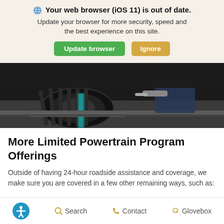🌐 Your web browser (iOS 11) is out of date. Update your browser for more security, speed and the best experience on this site.
Update browser | Ignore
[Figure (photo): Close-up photo of a car tire on a service platform with a mechanic working in background]
More Limited Powertrain Program Offerings
Outside of having 24-hour roadside assistance and coverage, we make sure you are covered in a few other remaining ways, such as:
Accessibility  Search  Contact  Glovebox